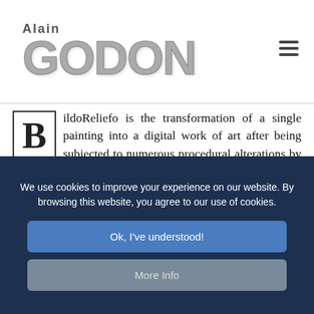[Figure (logo): Alain Godon logo with large stylized 'GODON' text in gray and 'Alain' above it, with a hamburger menu icon on the right]
BildoReliefo is the transformation of a single painting into a digital work of art after being subjected to numerous procedural alterations by the artist. The Bildos were a spectacular success with both the public and collectors alike when introduced for the first time by Hubert Konrad at the Tuileries in Paris at the Pavillon des Arts et du Design. They bear witness to the spectacular visual impact of this new experimental phase which Alain Godon has introduced into the main...
We use cookies to improve your experience on our website. By browsing this website, you agree to our use of cookies.
Ok, I've understood!
More Info